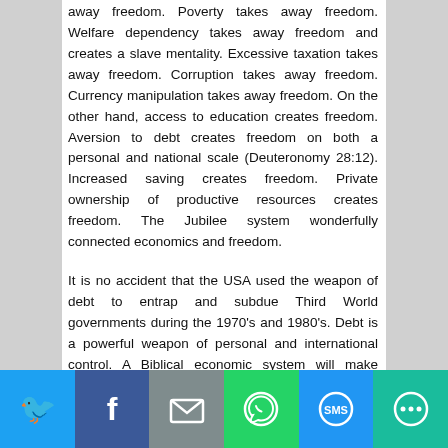away freedom. Poverty takes away freedom. Welfare dependency takes away freedom and creates a slave mentality. Excessive taxation takes away freedom. Corruption takes away freedom. Currency manipulation takes away freedom. On the other hand, access to education creates freedom. Aversion to debt creates freedom on both a personal and national scale (Deuteronomy 28:12). Increased saving creates freedom. Private ownership of productive resources creates freedom. The Jubilee system wonderfully connected economics and freedom.
It is no accident that the USA used the weapon of debt to entrap and subdue Third World governments during the 1970's and 1980's. Debt is a powerful weapon of personal and international control. A Biblical economic system will make personal and national debt limitation one of its top priorities.
[Figure (infographic): Social sharing bar with icons for Twitter, Facebook, Email, WhatsApp, SMS, and More]